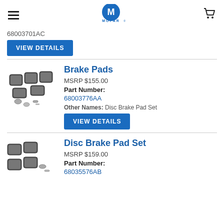MOPAR (logo, hamburger menu, cart icon)
68003701AC
VIEW DETAILS
Brake Pads
MSRP $155.00
Part Number:
68003776AA
Other Names: Disc Brake Pad Set
VIEW DETAILS
Disc Brake Pad Set
MSRP $159.00
Part Number:
68035576AB